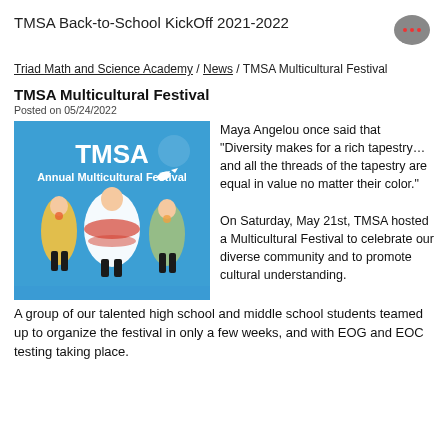TMSA Back-to-School KickOff 2021-2022
Triad Math and Science Academy / News / TMSA Multicultural Festival
TMSA Multicultural Festival
Posted on 05/24/2022
[Figure (photo): Photo of three girls in cultural festival costumes in front of a blue TMSA Annual Multicultural Festival banner]
Maya Angelou once said that “Diversity makes for a rich tapestry…and all the threads of the tapestry are equal in value no matter their color.”

On Saturday, May 21st, TMSA hosted a Multicultural Festival to celebrate our diverse community and to promote cultural understanding.  A group of our talented high school and middle school students teamed up to organize the festival in only a few weeks, and with EOG and EOC testing taking place.